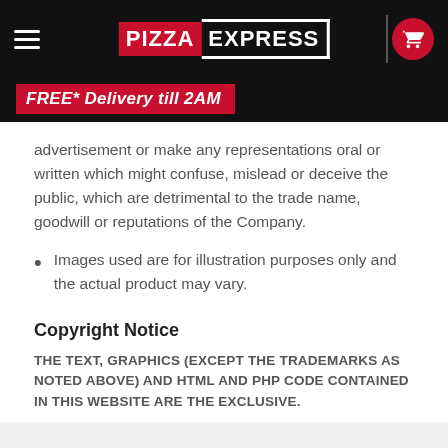Pizza Express — FREE* Delivery till 2AM
advertisement or make any representations oral or written which might confuse, mislead or deceive the public, which are detrimental to the trade name, goodwill or reputations of the Company.
Images used are for illustration purposes only and the actual product may vary.
Copyright Notice
THE TEXT, GRAPHICS (EXCEPT THE TRADEMARKS AS NOTED ABOVE) AND HTML AND PHP CODE CONTAINED IN THIS WEBSITE ARE THE EXCLUSIVE.